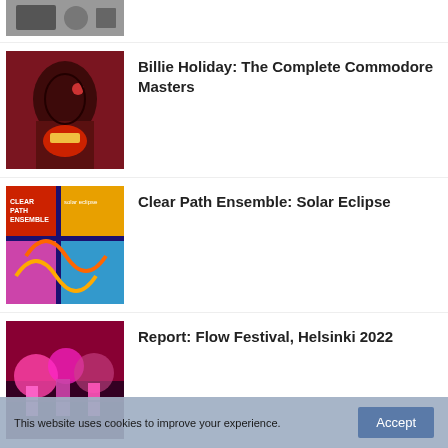[Figure (photo): Partial thumbnail image at top, cropped, black and white or dark tones]
Billie Holiday: The Complete Commodore Masters
Clear Path Ensemble: Solar Eclipse
Report: Flow Festival, Helsinki 2022
Dale Bruning: A Tribute To Jim Hall
This website uses cookies to improve your experience.